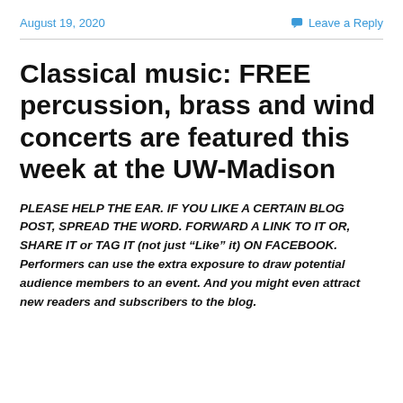August 19, 2020    Leave a Reply
Classical music: FREE percussion, brass and wind concerts are featured this week at the UW-Madison
PLEASE HELP THE EAR. IF YOU LIKE A CERTAIN BLOG POST, SPREAD THE WORD. FORWARD A LINK TO IT OR, SHARE IT or TAG IT (not just “Like” it) ON FACEBOOK. Performers can use the extra exposure to draw potential audience members to an event. And you might even attract new readers and subscribers to the blog.